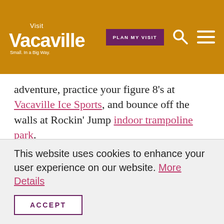[Figure (logo): Visit Vacaville logo — stylized white text 'Visit Vacaville' with tagline 'Small. In a Big Way.' on golden/amber background]
adventure, practice your figure 8's at Vacaville Ice Sports, and bounce off the walls at Rockin' Jump indoor trampoline park.
When it comes to kid-friendly family vacations, Vacaville is the spot to be. Being centrally located along the I-80 corridor, Vacaville offers great opportunities for day trips into neighboring areas.
This website uses cookies to enhance your user experience on our website. More Details
ACCEPT